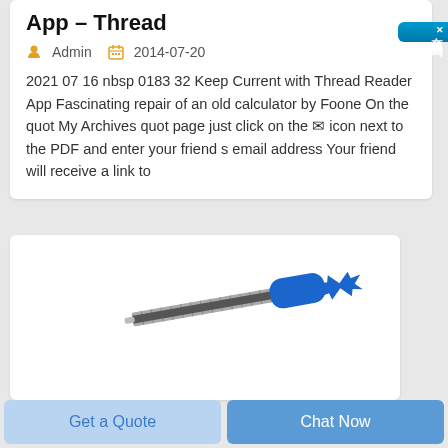App – Thread
Admin   2014-07-20
2021 07 16 nbsp 0183 32 Keep Current with Thread Reader App Fascinating repair of an old calculator by Foone On the quot My Archives quot page just click on the  icon next to the PDF and enter your friend s email address Your friend will receive a link to
[Figure (photo): Blue threaded rod/screw tool with blue handle and knob on white background]
Get a Quote
Chat Now